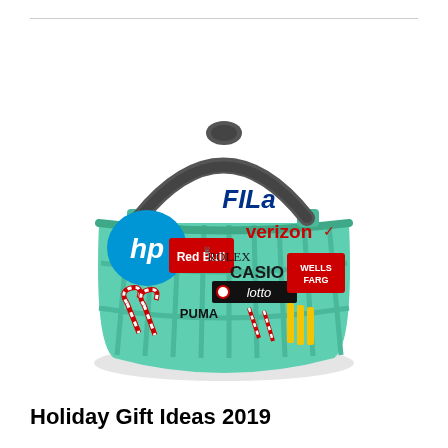[Figure (illustration): A teal/mint green plastic shopping basket with a dark gray handle, filled with various brand logos including FILA, verizon, Rolex, CASIO, lotto, Red Bull, hp, Wells Fargo, and Puma, along with candy canes and other holiday items.]
Holiday Gift Ideas 2019